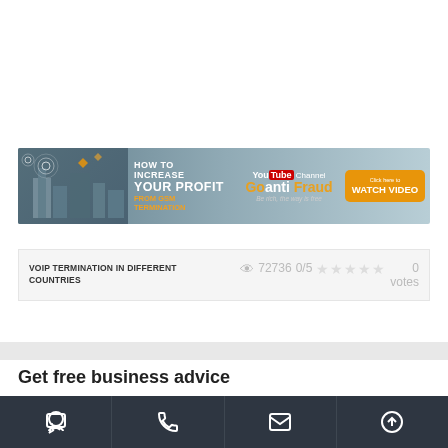[Figure (illustration): Banner advertisement: 'How to Increase Your Profit From GSM Termination' with GoAnti Fraud YouTube channel logo and orange Watch Video button]
VOIP TERMINATION IN DIFFERENT COUNTRIES   72736  0/5  ☆☆☆☆☆  0 votes
Get free business advice
Footer navigation bar with chat, phone, email, and up-arrow icons